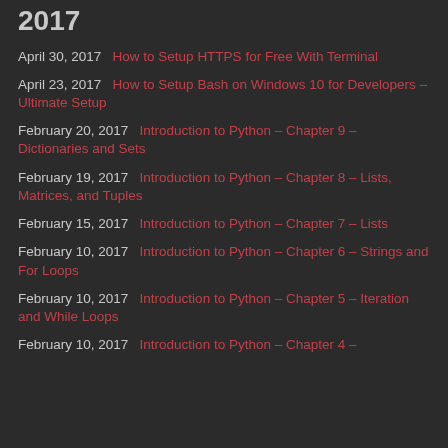2017
April 30, 2017   How to Setup HTTPS for Free With Terminal
April 23, 2017   How to Setup Bash on Windows 10 for Developers – Ultimate Setup
February 20, 2017   Introduction to Python – Chapter 9 – Dictionaries and Sets
February 19, 2017   Introduction to Python – Chapter 8 – Lists, Matrices, and Tuples
February 15, 2017   Introduction to Python – Chapter 7 – Lists
February 10, 2017   Introduction to Python – Chapter 6 – Strings and For Loops
February 10, 2017   Introduction to Python – Chapter 5 – Iteration and While Loops
February 10, 2017   Introduction to Python – Chapter 4 –